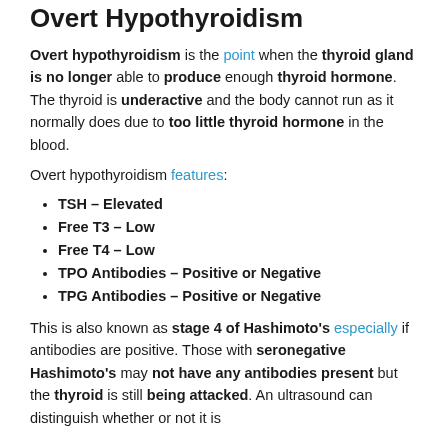Overt Hypothyroidism
Overt hypothyroidism is the point when the thyroid gland is no longer able to produce enough thyroid hormone. The thyroid is underactive and the body cannot run as it normally does due to too little thyroid hormone in the blood.
Overt hypothyroidism features:
TSH – Elevated
Free T3 – Low
Free T4 – Low
TPO Antibodies – Positive or Negative
TPG Antibodies – Positive or Negative
This is also known as stage 4 of Hashimoto's especially if antibodies are positive. Those with seronegative Hashimoto's may not have any antibodies present but the thyroid is still being attacked. An ultrasound can distinguish whether or not it is